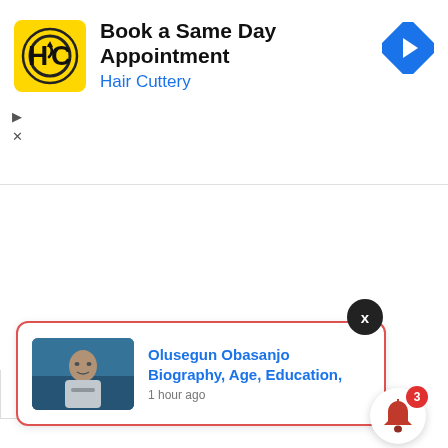[Figure (screenshot): Hair Cuttery advertisement banner with yellow logo showing HC initials, text 'Book a Same Day Appointment' and 'Hair Cuttery' subtitle, and a blue navigation arrow icon on the right. Play and X controls on the left below the ad.]
[Figure (screenshot): Collapse/expand tab with up arrow caret, appearing below the ad banner on the left side.]
[Figure (screenshot): Notification card with red border showing a thumbnail photo of Olusegun Obasanjo speaking at a podium, with a close X button above, text 'Olusegun Obasanjo Biography, Age, Education,' in blue, and '1 hour ago' timestamp. A bell icon with red badge showing '3' is in the bottom right corner.]